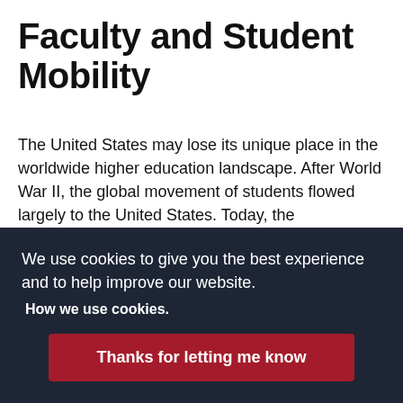Faculty and Student Mobility
The United States may lose its unique place in the worldwide higher education landscape. After World War II, the global movement of students flowed largely to the United States. Today, the globalization of higher education means both that more students are traveling internationally for higher education and that
We use cookies to give you the best experience and to help improve our website. How we use cookies. Thanks for letting me know